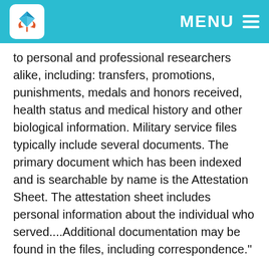MENU
to personal and professional researchers alike, including: transfers, promotions, punishments, medals and honors received, health status and medical history and other biological information. Military service files typically include several documents. The primary document which has been indexed and is searchable by name is the Attestation Sheet. The attestation sheet includes personal information about the individual who served....Additional documentation may be found in the files, including correspondence."